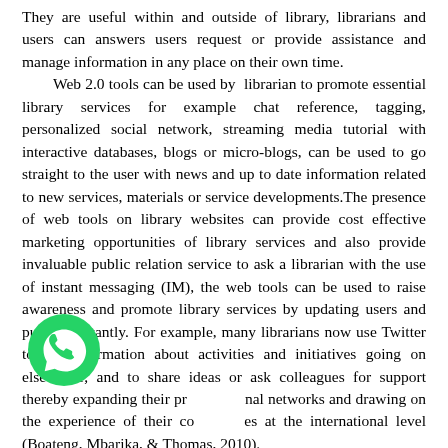They are useful within and outside of library, librarians and users can answers users request or provide assistance and manage information in any place on their own time. Web 2.0 tools can be used by librarian to promote essential library services for example chat reference, tagging, personalized social network, streaming media tutorial with interactive databases, blogs or micro-blogs, can be used to go straight to the user with news and up to date information related to new services, materials or service developments.The presence of web tools on library websites can provide cost effective marketing opportunities of library services and also provide invaluable public relation service to ask a librarian with the use of instant messaging (IM), the web tools can be used to raise awareness and promote library services by updating users and publish instantly. For example, many librarians now use Twitter to get information about activities and initiatives going on elsewhere; and to share ideas or ask colleagues for support thereby expanding their professional networks and drawing on the experience of their colleagues at the international level (Boateng, Mbarika, & Thomas, 2010). Web 2.0 tools such as bookmarking tools, collaborative
[Figure (illustration): WhatsApp icon - green circle with white phone/chat handset symbol]